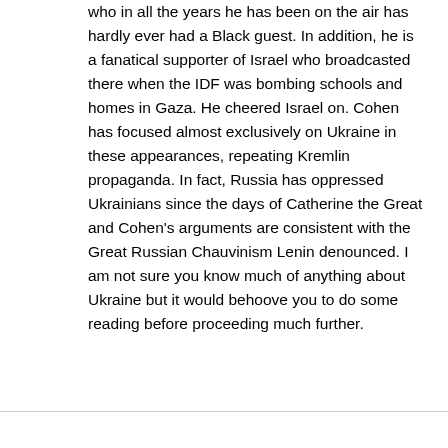who in all the years he has been on the air has hardly ever had a Black guest. In addition, he is a fanatical supporter of Israel who broadcasted there when the IDF was bombing schools and homes in Gaza. He cheered Israel on. Cohen has focused almost exclusively on Ukraine in these appearances, repeating Kremlin propaganda. In fact, Russia has oppressed Ukrainians since the days of Catherine the Great and Cohen's arguments are consistent with the Great Russian Chauvinism Lenin denounced. I am not sure you know much of anything about Ukraine but it would behoove you to do some reading before proceeding much further.